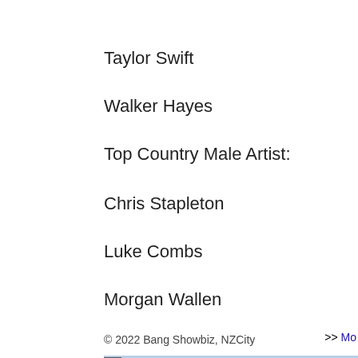Taylor Swift
Walker Hayes
Top Country Male Artist:
Chris Stapleton
Luke Combs
Morgan Wallen
© 2022 Bang Showbiz, NZCity
>> More
Other Entertainment News
05 Sep: Anne Heche was trapped in a blazing home for 45 left her in a coma
05 Sep: Chris Rock says Will Smith managed to do an imp years" before showing he is "just as ugly as the rest of